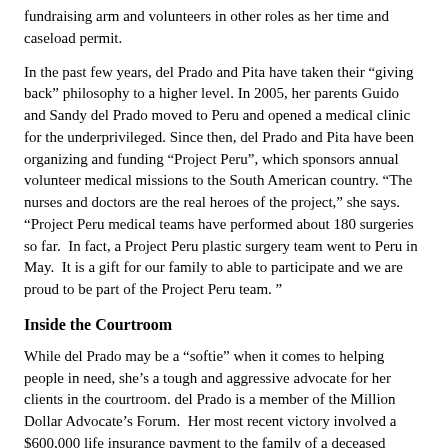fundraising arm and volunteers in other roles as her time and caseload permit.
In the past few years, del Prado and Pita have taken their “giving back” philosophy to a higher level. In 2005, her parents Guido and Sandy del Prado moved to Peru and opened a medical clinic for the underprivileged. Since then, del Prado and Pita have been organizing and funding “Project Peru”, which sponsors annual volunteer medical missions to the South American country. “The nurses and doctors are the real heroes of the project,” she says. “Project Peru medical teams have performed about 180 surgeries so far.  In fact, a Project Peru plastic surgery team went to Peru in May.  It is a gift for our family to able to participate and we are proud to be part of the Project Peru team. ”
Inside the Courtroom
While del Prado may be a “softie” when it comes to helping people in need, she’s a tough and aggressive advocate for her clients in the courtroom. del Prado is a member of the Million Dollar Advocate’s Forum.  Her most recent victory involved a $600,000 life insurance payment to the family of a deceased Colombian man following a five-year battle with the insurer.
“Skip and I joust about who is a better researcher,” says del Prado.